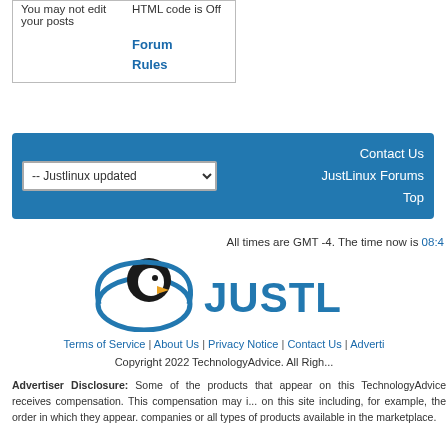| You may not edit your posts | HTML code is Off |
|  | Forum Rules |
-- Justlinux updated | Contact Us JustLinux Forums Top
All times are GMT -4. The time now is 08:4...
[Figure (logo): JustLinux logo with penguin head and JUSTL... text]
Terms of Service | About Us | Privacy Notice | Contact Us | Adverti...
Copyright 2022 TechnologyAdvice. All Righ...
Advertiser Disclosure: Some of the products that appear on this TechnologyAdvice receives compensation. This compensation may i... on this site including, for example, the order in which they appear. companies or all types of products available in the marketplace.